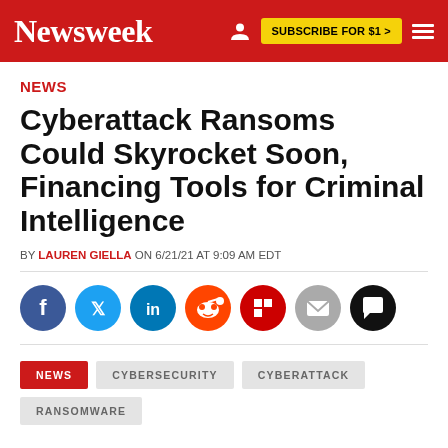Newsweek | SUBSCRIBE FOR $1 >
NEWS
Cyberattack Ransoms Could Skyrocket Soon, Financing Tools for Criminal Intelligence
BY LAUREN GIELLA ON 6/21/21 AT 9:09 AM EDT
[Figure (infographic): Social sharing icons row: Facebook (blue), Twitter (light blue), LinkedIn (dark blue), Reddit (orange), Flipboard (red), Email (gray), Comment (black)]
NEWS
CYBERSECURITY
CYBERATTACK
RANSOMWARE